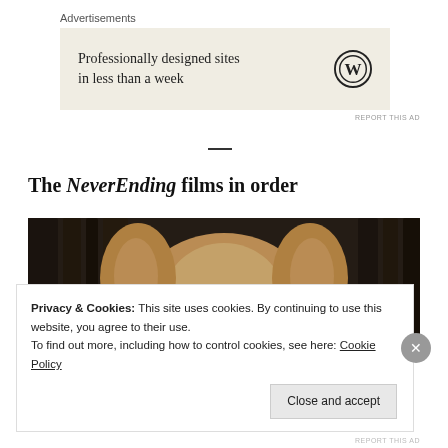Advertisements
[Figure (other): WordPress advertisement banner: 'Professionally designed sites in less than a week' with WordPress circular logo]
REPORT THIS AD
—
The NeverEnding films in order
[Figure (photo): Close-up photo of a furry creature (Falkor from The NeverEnding Story) with brown/tan fur, against a dark textured background]
Privacy & Cookies: This site uses cookies. By continuing to use this website, you agree to their use.
To find out more, including how to control cookies, see here: Cookie Policy
Close and accept
REPORT THIS AD